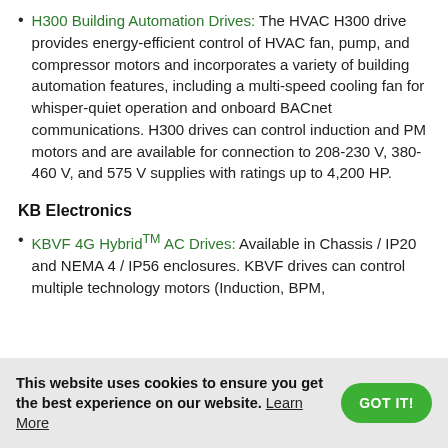H300 Building Automation Drives: The HVAC H300 drive provides energy-efficient control of HVAC fan, pump, and compressor motors and incorporates a variety of building automation features, including a multi-speed cooling fan for whisper-quiet operation and onboard BACnet communications. H300 drives can control induction and PM motors and are available for connection to 208-230 V, 380-460 V, and 575 V supplies with ratings up to 4,200 HP.
KB Electronics
KBVF 4G HybridTM AC Drives: Available in Chassis / IP20 and NEMA 4 / IP56 enclosures. KBVF drives can control multiple technology motors (Induction, BPM,
This website uses cookies to ensure you get the best experience on our website. Learn More